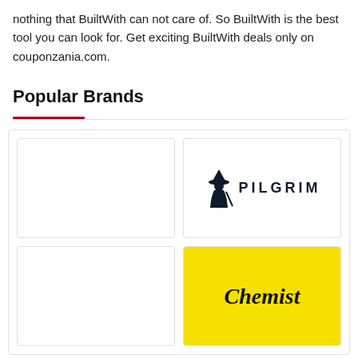nothing that BuiltWith can not care of. So BuiltWith is the best tool you can look for. Get exciting BuiltWith deals only on couponzania.com.
Popular Brands
[Figure (logo): Empty brand card (no logo visible)]
[Figure (logo): Pilgrim brand logo — witch/pilgrim figure silhouette followed by text PILGRIM in spaced caps]
[Figure (logo): Empty brand card (no logo visible)]
[Figure (logo): Chemist brand logo on yellow background — cursive text reading 'Chemist']